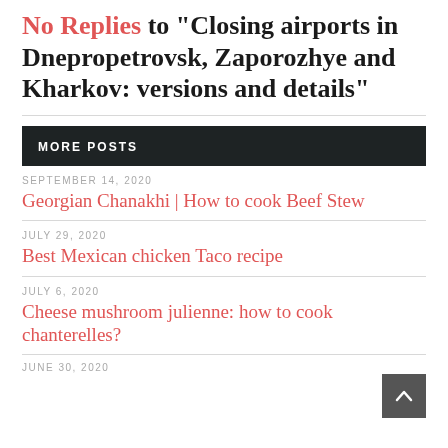No Replies to "Closing airports in Dnepropetrovsk, Zaporozhye and Kharkov: versions and details"
MORE POSTS
SEPTEMBER 14, 2020
Georgian Chanakhi | How to cook Beef Stew
JULY 29, 2020
Best Mexican chicken Taco recipe
JULY 6, 2020
Cheese mushroom julienne: how to cook chanterelles?
JUNE 30, 2020